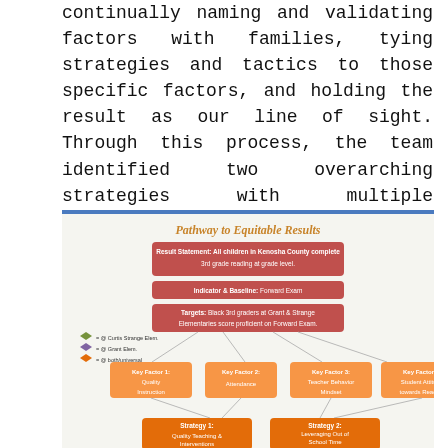continually naming and validating factors with families, tying strategies and tactics to those specific factors, and holding the result as our line of sight. Through this process, the team identified two overarching strategies with multiple components for each, visually shown here:
[Figure (flowchart): Pathway to Equitable Results flowchart showing Result Statement (All children in Kenosha County complete 3rd grade reading at grade level), Indicator & Baseline (Forward Exam), Targets (Black 3rd graders at Grant & Strange Elementaries score proficient on Forward Exam), four Key Factors (Quality Instruction, Attendance, Teacher Behavior Mindset, Student Attitude towards Reading), and two Strategies (Strategy 1: Quality Teaching & Interventions, Strategy 2: Leveraging Out of School Time)]